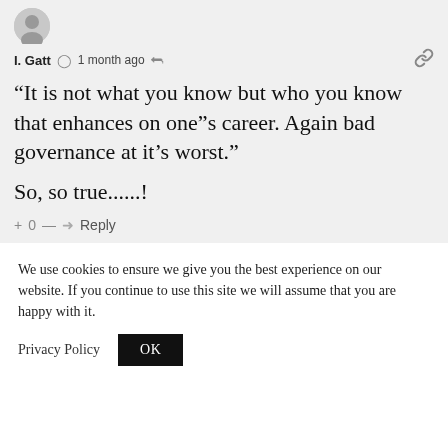[Figure (other): User avatar: gray circular profile icon]
I. Gatt  1 month ago
“It is not what you know but who you know that enhances on one”s career. Again bad governance at it’s worst.”

So, so true......!
+ 0 —  Reply
We use cookies to ensure we give you the best experience on our website. If you continue to use this site we will assume that you are happy with it.
Privacy Policy  OK